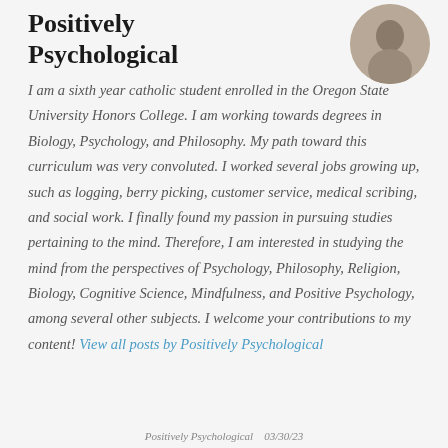Positively Psychological
[Figure (photo): Circular avatar photo of a person, grayscale/sepia toned, positioned top right]
I am a sixth year catholic student enrolled in the Oregon State University Honors College. I am working towards degrees in Biology, Psychology, and Philosophy. My path toward this curriculum was very convoluted. I worked several jobs growing up, such as logging, berry picking, customer service, medical scribing, and social work. I finally found my passion in pursuing studies pertaining to the mind. Therefore, I am interested in studying the mind from the perspectives of Psychology, Philosophy, Religion, Biology, Cognitive Science, Mindfulness, and Positive Psychology, among several other subjects. I welcome your contributions to my content! View all posts by Positively Psychological
Positively Psychological  03/30/23